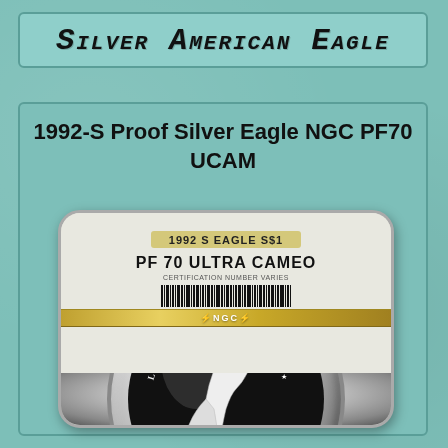Silver American Eagle
1992-S Proof Silver Eagle NGC PF70 UCAM
[Figure (photo): NGC graded slab showing 1992 S Eagle S$1 PF 70 Ultra Cameo coin with barcode label and NGC gold band, with the obverse of the Silver American Eagle coin (Walking Liberty design) visible below the slab label.]